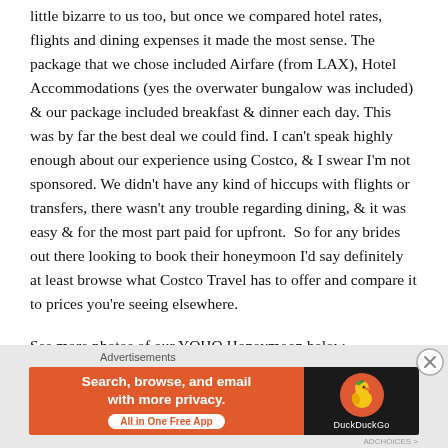little bizarre to us too, but once we compared hotel rates, flights and dining expenses it made the most sense. The package that we chose included Airfare (from LAX), Hotel Accommodations (yes the overwater bungalow was included) & our package included breakfast & dinner each day. This was by far the best deal we could find. I can't speak highly enough about our experience using Costco, & I swear I'm not sponsored. We didn't have any kind of hiccups with flights or transfers, there wasn't any trouble regarding dining, & it was easy & for the most part paid for upfront.  So for any brides out there looking to book their honeymoon I'd say definitely at least browse what Costco Travel has to offer and compare it to prices you're seeing elsewhere.
See more photos of our YOHO Honeymoon below.
[Figure (other): DuckDuckGo advertisement banner: orange left panel with text 'Search, browse, and email with more privacy. All in One Free App' and dark right panel with DuckDuckGo logo]